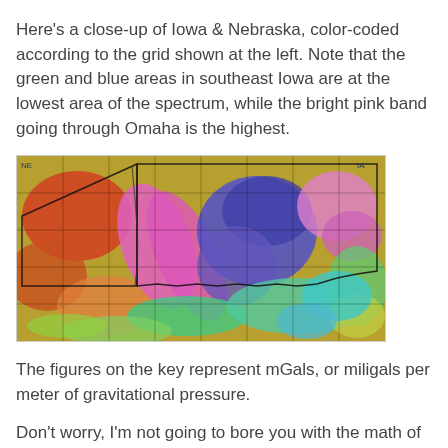Here's a close-up of Iowa & Nebraska, color-coded according to the grid shown at the left. Note that the green and blue areas in southeast Iowa are at the lowest area of the spectrum, while the bright pink band going through Omaha is the highest.
[Figure (map): Color-coded gravity map of Iowa and Nebraska showing mGal values. A bright pink band runs through the Omaha area (highest values), while green and blue areas appear in southeast Iowa (lowest values). The map overlays a grid and shows state/county boundaries.]
The figures on the key represent mGals, or miligals per meter of gravitational pressure.
Don't worry, I'm not going to bore you with the math of it. We can boil it down this one simple premise: